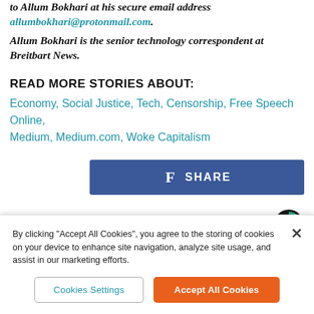to Allum Bokhari at his secure email address allumbokhari@protonmail.com.
Allum Bokhari is the senior technology correspondent at Breitbart News.
READ MORE STORIES ABOUT:
Economy, Social Justice, Tech, Censorship, Free Speech Online, Medium, Medium.com, Woke Capitalism
[Figure (other): Facebook Share button with blue background]
AROUND THE WEB
[Figure (logo): Taboola logo - circular C shape in teal and dark]
By clicking "Accept All Cookies", you agree to the storing of cookies on your device to enhance site navigation, analyze site usage, and assist in our marketing efforts.
Cookies Settings
Accept All Cookies